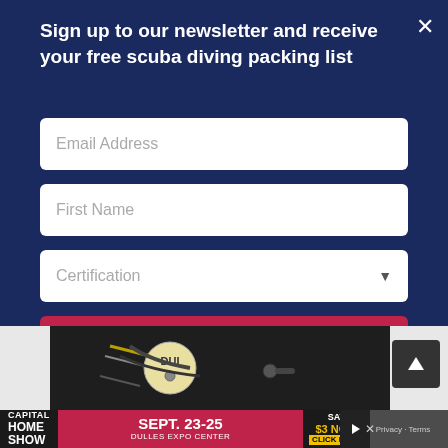Sign up to our newsletter and receive your free scuba diving packing list
[Figure (screenshot): Newsletter signup modal form with email address field, first name field, certification dropdown, and sign up button on dark navy blue background]
[Figure (photo): Photo of scuba diving equipment including a DUI branded drysuit]
[Figure (screenshot): Capital Home Show advertisement banner: SEPT. 23-25, DULLES EXPO CENTER, SAVE $3 NOW, CLICK HERE]